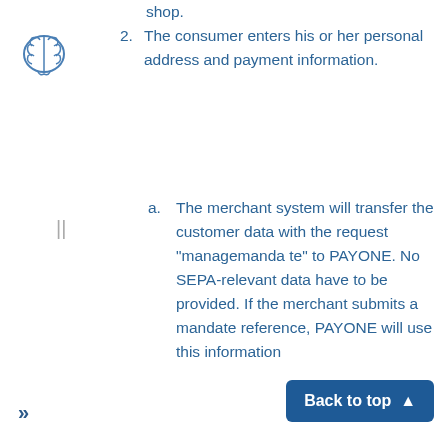[Figure (logo): Brain icon logo in outline style, blue/gray color]
shop.
2. The consumer enters his or her personal address and payment information.
a. The merchant system will transfer the customer data with the request "managemanda te" to PAYONE. No SEPA-relevant data have to be provided. If the merchant submits a mandate reference, PAYONE will use this information
[Figure (other): Back to top button, teal/dark blue color with upward arrow]